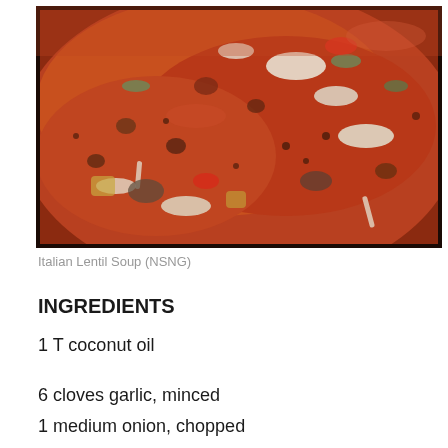[Figure (photo): Close-up photo of Italian Lentil Soup in a dark pot, showing a tomato-based broth with lentils, vegetables including onions, celery, and other chopped vegetables in a rich red sauce.]
Italian Lentil Soup (NSNG)
INGREDIENTS
1 T coconut oil
6 cloves garlic, minced
1 medium onion, chopped